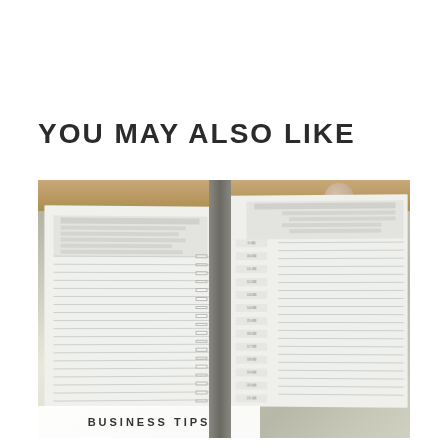YOU MAY ALSO LIKE
[Figure (photo): Photograph of an open planner/diary notebook showing calendar grids and ruled lined pages for scheduling, with a wooden desk surface visible at the top and a mug partially visible. The left page has small calendar tables and lined sections with checkboxes; the right page has time slots and ruled lines.]
BUSINESS TIPS